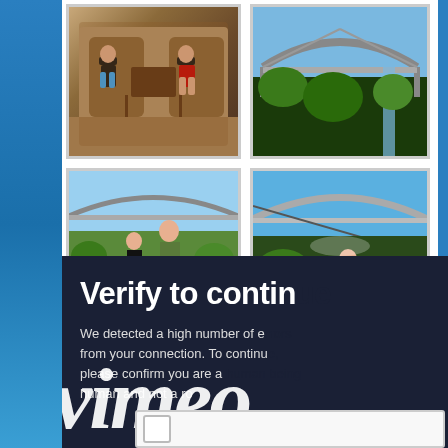[Figure (photo): Four travel photos in a 2x2 grid: top-left shows two children sitting in ornate chairs indoors; top-right shows a large arch bridge over a gorge with lush green vegetation; bottom-left shows an adult and child in harnesses standing near a bridge; bottom-right shows a person on a zip-line or gorge swing near a bridge.]
[Figure (screenshot): Vimeo 'Verify to continue' bot-check overlay with dark navy background. Large white bold text 'Verify to contin...' (truncated), body text 'We detected a high number of e... from your connection. To continu... please confirm you are a... human and not a ro...' and large italic 'vimeo' watermark text. Partial checkbox UI visible at bottom.]